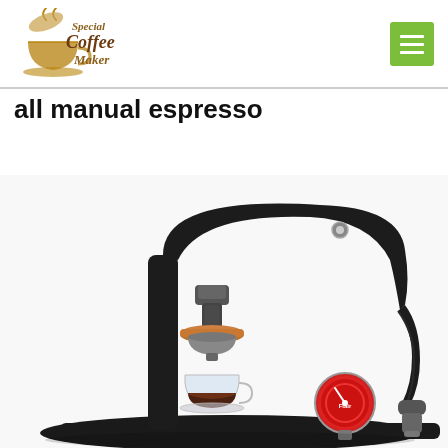Special Coffee Maker
all manual espresso
[Figure (photo): A black manual lever espresso machine with a copper-colored portafilter ring, a glass espresso cup with shot, a red pressure gauge, and a tamper accessory, photographed on a white background.]